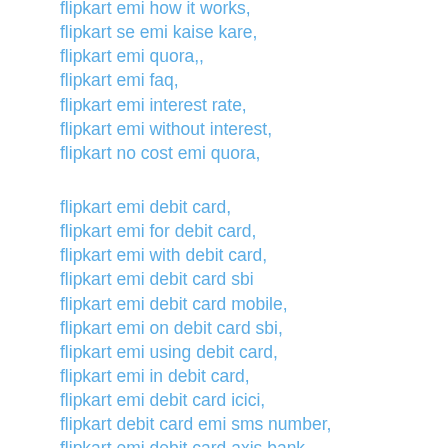flipkart emi how it works,
flipkart se emi kaise kare,
flipkart emi quora,,
flipkart emi faq,
flipkart emi interest rate,
flipkart emi without interest,
flipkart no cost emi quora,
flipkart emi debit card,
flipkart emi for debit card,
flipkart emi with debit card,
flipkart emi debit card sbi
flipkart emi debit card mobile,
flipkart emi on debit card sbi,
flipkart emi using debit card,
flipkart emi in debit card,
flipkart emi debit card icici,
flipkart debit card emi sms number,
flipkart emi debit card axis bank,
flipkart emi by debit card,
flipkart hdfc debit card emi offer,
flipkart par debit card se emi,
flipkart give emi on debit card,